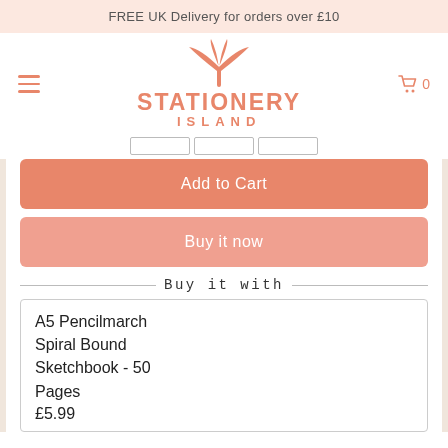FREE UK Delivery for orders over £10
[Figure (logo): Stationery Island logo with palm tree icon, salmon/coral color]
Add to Cart
Buy it now
Buy it with
A5 Pencilmarch Spiral Bound Sketchbook - 50 Pages
£5.99